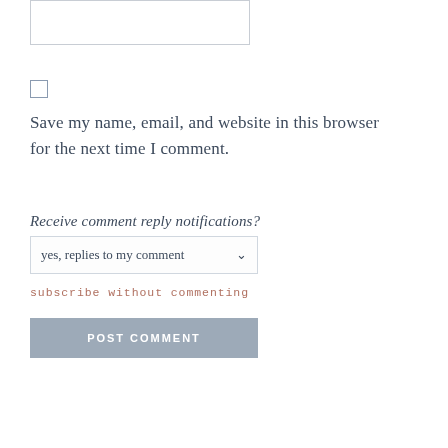[Figure (other): A textarea input field (empty, with border)]
[Figure (other): An unchecked checkbox input]
Save my name, email, and website in this browser for the next time I comment.
Receive comment reply notifications?
[Figure (other): A dropdown select box showing 'yes, replies to my comment' with a chevron arrow]
subscribe without commenting
[Figure (other): A button labeled POST COMMENT with grey background]